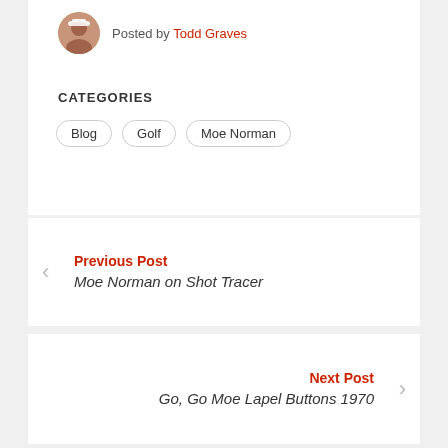Posted by Todd Graves
CATEGORIES
Blog
Golf
Moe Norman
Previous Post
Moe Norman on Shot Tracer
Next Post
Go, Go Moe Lapel Buttons 1970
Comments
4